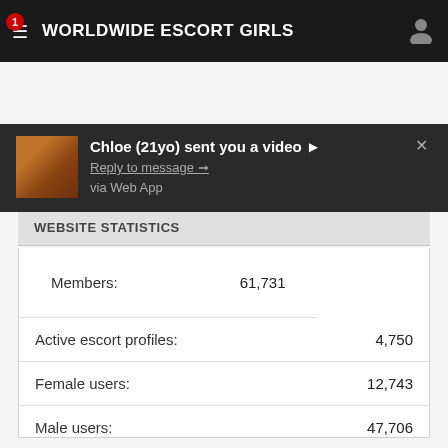WORLDWIDE ESCORT GIRLS
[Figure (screenshot): Mobile notification popup showing 'Chloe (21yo) sent you a video' with a thumbnail image, reply link, and 'via Web App' text]
WEBSITE STATISTICS
| Statistic | Value |
| --- | --- |
| Members: | 61,731 |
| Active escort profiles: | 4,750 |
| Female users: | 12,743 |
| Male users: | 47,706 |
| TS-users: | 8,822 |
| Profiles with reviews: | 442 |
| All escorts ever: | 17,542 |